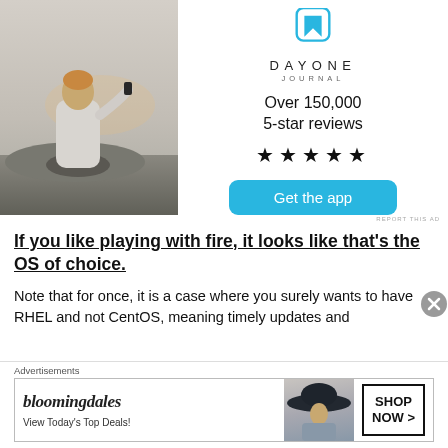[Figure (photo): Person sitting on rocks with back to camera, taking a photo with a smartphone, outdoor sunset/dusk lighting]
[Figure (logo): Day One Journal app icon — blue bookmark ribbon on white square with rounded corners]
D A Y O N E
JOURNAL
Over 150,000
5-star reviews
★★★★★
Get the app
REPORT THIS AD
If you like playing with fire, it looks like that's the OS of choice.
Note that for once, it is a case where you surely wants to have RHEL and not CentOS, meaning timely updates and
Advertisements
[Figure (screenshot): Bloomingdales advertisement banner — logo text 'bloomingdales', tagline 'View Today's Top Deals!' with image of woman in hat, and 'SHOP NOW >' button]